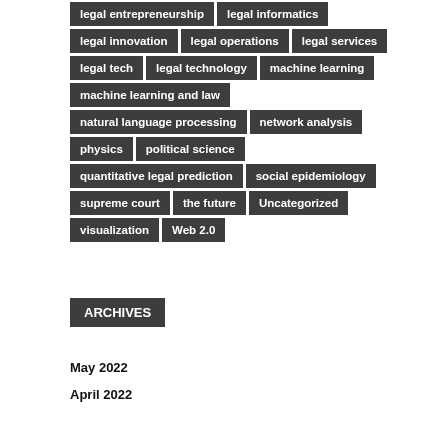legal entrepreneurship
legal informatics
legal innovation
legal operations
legal services
legal tech
legal technology
machine learning
machine learning and law
natural language processing
network analysis
physics
political science
quantitative legal prediction
social epidemiology
supreme court
the future
Uncategorized
visualization
Web 2.0
ARCHIVES
May 2022
April 2022